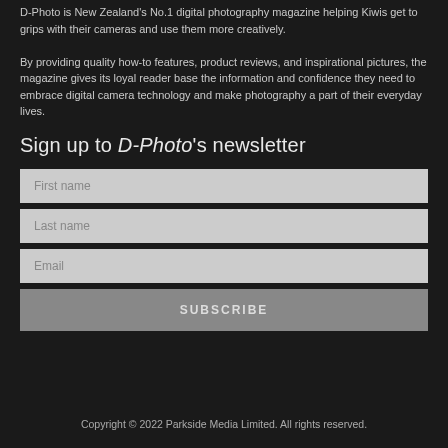D-Photo is New Zealand's No.1 digital photography magazine helping Kiwis get to grips with their cameras and use them more creatively. By providing quality how-to features, product reviews, and inspirational pictures, the magazine gives its loyal reader base the information and confidence they need to embrace digital camera technology and make photography a part of their everyday lives.
Sign up to D-Photo's newsletter
First name
Last name
Email
SUBSCRIBE
Copyright © 2022 Parkside Media Limited. All rights reserved.